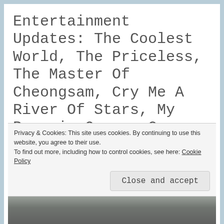Entertainment Updates: The Coolest World, The Priceless, The Master Of Cheongsam, Cry Me A River Of Stars, My Bargain Queen, Go Into Your Heart, Chong Zi, Beloved Life, Dr Tang, The Curse Of Turandot, The Ingenious One. etc...
Privacy & Cookies: This site uses cookies. By continuing to use this website, you agree to their use.
To find out more, including how to control cookies, see here: Cookie Policy
Close and accept
[Figure (photo): Partial view of an outdoor photograph, appears to show a rocky or snowy landscape, cropped at bottom of page.]